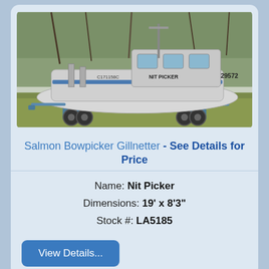[Figure (photo): A white aluminum salmon bowpicker gillnetter boat named 'Nit Picker' (registration C171158C, number 29572) on a tandem-axle trailer, parked on grass with trees in background.]
Salmon Bowpicker Gillnetter - See Details for Price
Name: Nit Picker
Dimensions: 19' x 8'3"
Stock #: LA5185
View Details...